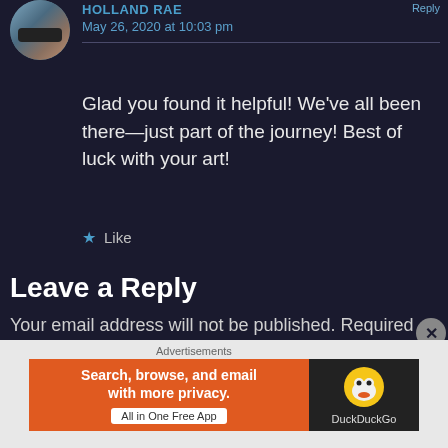[Figure (photo): Circular avatar photo of a woman wearing sunglasses at a beach]
HOLLAND RAE says: Reply
May 26, 2020 at 10:03 pm
Glad you found it helpful! We've all been there—just part of the journey! Best of luck with your art!
★ Like
Leave a Reply
Your email address will not be published. Required fields are marked *
[Figure (other): DuckDuckGo advertisement banner: Search, browse, and email with more privacy. All in One Free App]